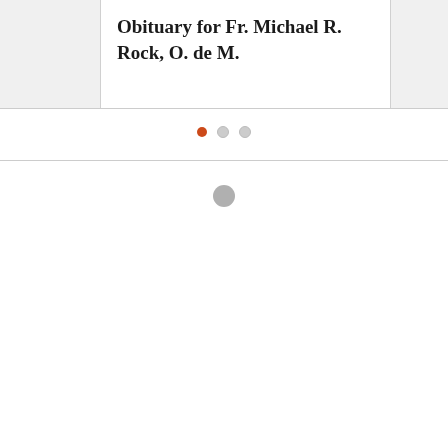Obituary for Fr. Michael R. Rock, O. de M.
[Figure (other): Carousel navigation dots: one orange filled dot (active) and two grey dots (inactive)]